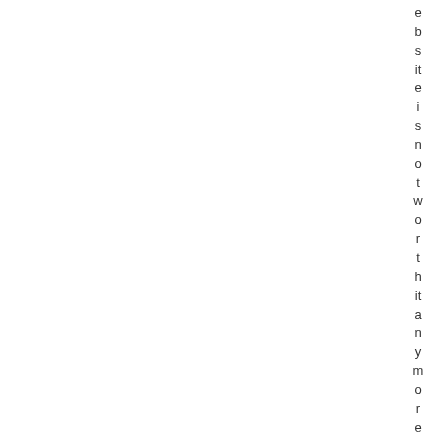ebsite is not worth it anymore. Several